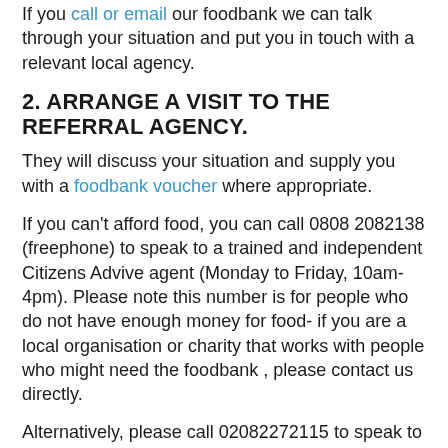If you call or email our foodbank we can talk through your situation and put you in touch with a relevant local agency.
2. ARRANGE A VISIT TO THE REFERRAL AGENCY.
They will discuss your situation and supply you with a foodbank voucher where appropriate.
If you can't afford food, you can call 0808 2082138 (freephone) to speak to a trained and independent Citizens Advive agent (Monday to Friday, 10am-4pm). Please note this number is for people who do not have enough money for food- if you are a local organisation or charity that works with people who might need the foodbank , please contact us directly.
Alternatively, please call 02082272115 to speak to Homes and Money Hub who will be able to issue you with a foodbank voucher if necessary.